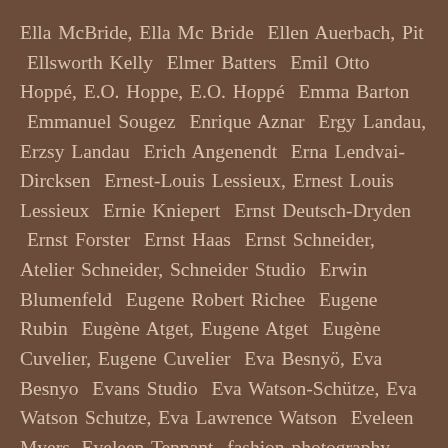Ella McBride, Ella Mc Bride  Ellen Auerbach, Pit  Ellsworth Kelly  Elmer Batters  Emil Otto Hoppé, E.O. Hoppe, E.O. Hoppé  Emma Barton  Emmanuel Sougez  Enrique Aznar  Ergy Landau, Erzsy Landau  Erich Angenendt  Erna Lendvai-Dircksen  Ernest-Louis Lessieux, Ernest Louis Lessieux  Ernie Kniepert  Ernst Deutsch-Dryden  Ernst Forster  Ernst Haas  Ernst Schneider, Atelier Schneider, Schneider Studio  Erwin Blumenfeld  Eugene Robert Richee  Eugene Rubin  Eugène Atget, Eugene Atget  Eugène Cuvelier, Eugene Cuvelier  Eva Besnyö, Eva Besnyo  Evans Studio  Eva Watson-Schütze, Eva Watson Schutze, Eva Lawrence Watson  Eveleen Myers, Eveleen Tennant  fashion photography, fotografía de moda, fotografia di moda, Modefotografie, photographie de mode, fotografia de moda  Faye Yerbury  Fee Schlapper  Felice Beato, Studio Felice Beato  Felix Bonfils  Felix Nadar, Gaspard-Félix